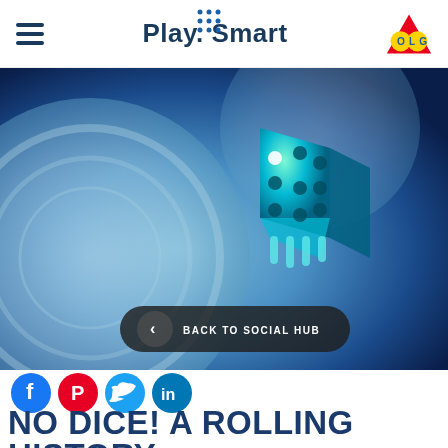Play. Smart | OLG
[Figure (photo): 3D rendered teal/cyan transparent dice on a reflective silver roulette wheel surface, with deep blue background. A 'BACK TO SOCIAL HUB' button overlay at the bottom.]
[Figure (infographic): Social media share icons: Facebook (blue circle with f), Pinterest (red circle with P), Twitter (light blue circle with bird), LinkedIn (blue circle with in)]
NO DICE! A ROLLING HISTORY.